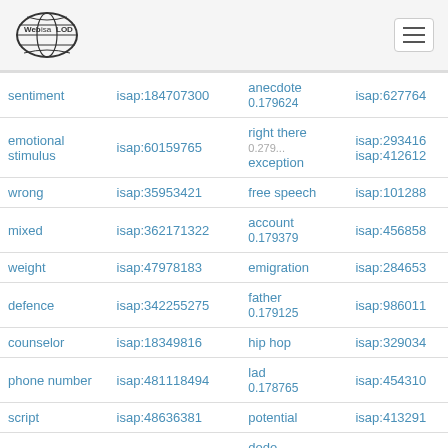Web isa LOD logo and navigation
| term | isap id | related term | isap id2 |
| --- | --- | --- | --- |
| sentiment | isap:184707300 | anecdote
0.179624 | isap:627764 |
| emotional stimulus | isap:60159765 | right there
0.279...
exception | isap:293416
isap:412612 |
| wrong | isap:35953421 | free speech | isap:101288 |
| mixed | isap:362171322 | account
0.179379 | isap:456858 |
| weight | isap:47978183 | emigration | isap:284653 |
| defence | isap:342255275 | father
0.179125 | isap:986011 |
| counselor | isap:18349816 | hip hop | isap:329034 |
| phone number | isap:481118494 | lad
0.178765 | isap:454310 |
| script | isap:48636381 | potential | isap:413291 |
| amended | isap:340920177 | dodo
0.179597
drank | isap:285057 |